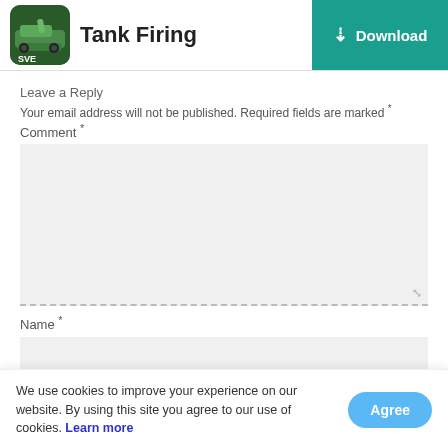Tank Firing | Download
Leave a Reply
Your email address will not be published. Required fields are marked *
Comment *
Name *
Email *
We use cookies to improve your experience on our website. By using this site you agree to our use of cookies. Learn more